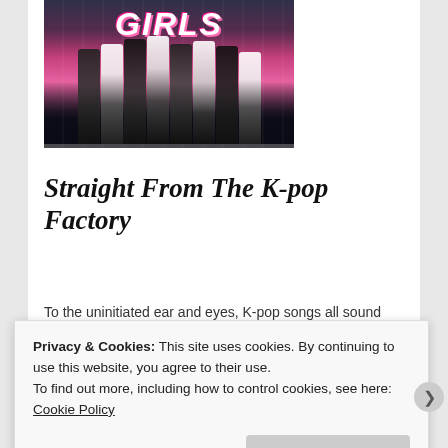[Figure (photo): K-pop girl group performing on stage with pink backdrop and 'GIRLS' text visible above them. Members dressed in black and white outfits.]
Straight From The K-pop Factory
To the uninitiated ear and eyes, K-pop songs all sound the same, and K-pop groups all look the same
April 9, 2011 in generic
Privacy & Cookies: This site uses cookies. By continuing to use this website, you agree to their use.
To find out more, including how to control cookies, see here: Cookie Policy
Close and accept